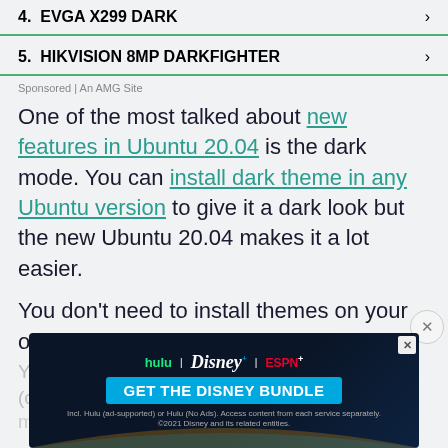4.  EVGA X299 DARK
5.  HIKVISION 8MP DARKFIGHTER
Sponsored | An AMG Site
One of the most talked about new features in Ubuntu 20.04 is the dark mode. You can install dark theme in any Ubuntu version to give it a dark look but the new Ubuntu 20.04 makes it a lot easier.
You don't need to install themes on your own.
You can find three variants of the default theme (called
mode from the Settings.
[Figure (screenshot): Disney+ bundle advertisement banner with Hulu, Disney+, ESPN+ logos and GET THE DISNEY BUNDLE call to action]